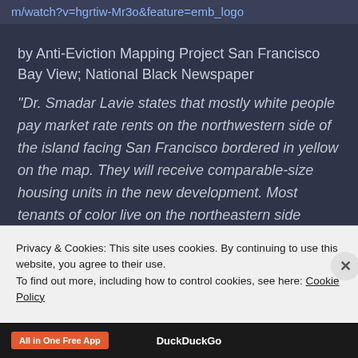m/watch?v=hgrtiw-Mr3o&feature=emb_logo
by Anti-Eviction Mapping Project San Francisco Bay View; National Black Newspaper
“Dr. Smadar Lavie states that mostly white people pay market rate rents on the northwestern side of the island facing San Francisco bordered in yellow on the map. They will receive comparable-size housing units in the new development. Most tenants of color live on the northeastern side facing Oakland and Berkeley and experience discriminatory
Privacy & Cookies: This site uses cookies. By continuing to use this website, you agree to their use.
To find out more, including how to control cookies, see here: Cookie Policy
Close and accept
All in One Free App
DuckDuckGo